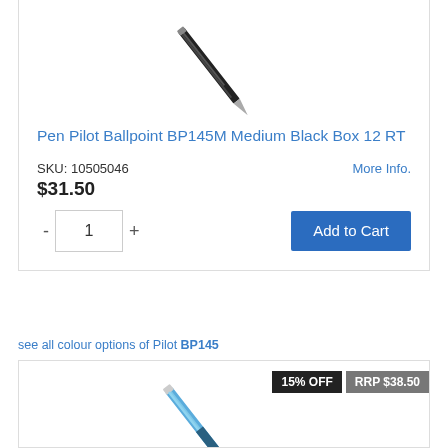[Figure (photo): Top portion of a black Pilot ballpoint pen on white background]
Pen Pilot Ballpoint BP145M Medium Black Box 12 RT
SKU: 10505046   More Info.
$31.50
- 1 +  Add to Cart
see all colour options of Pilot BP145
[Figure (photo): Blue Pilot ballpoint pen shown diagonally with 15% OFF and RRP $38.50 badges]